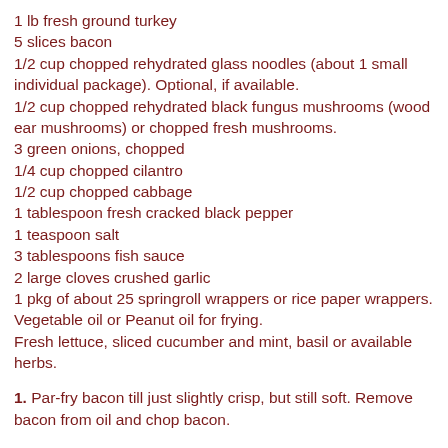1 lb fresh ground turkey
5 slices bacon
1/2 cup chopped rehydrated glass noodles (about 1 small individual package). Optional, if available.
1/2 cup chopped rehydrated black fungus mushrooms (wood ear mushrooms) or chopped fresh mushrooms.
3 green onions, chopped
1/4 cup chopped cilantro
1/2 cup chopped cabbage
1 tablespoon fresh cracked black pepper
1 teaspoon salt
3 tablespoons fish sauce
2 large cloves crushed garlic
1 pkg of about 25 springroll wrappers or rice paper wrappers.
Vegetable oil or Peanut oil for frying.
Fresh lettuce, sliced cucumber and mint, basil or available herbs.
1. Par-fry bacon till just slightly crisp, but still soft. Remove bacon from oil and chop bacon.